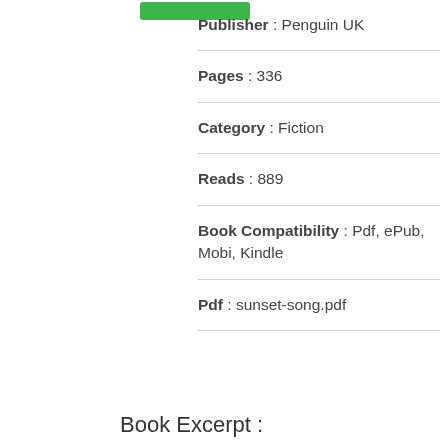[Figure (other): Green button/badge at top left area]
Publisher : Penguin UK
Pages : 336
Category : Fiction
Reads : 889
Book Compatibility : Pdf, ePub, Mobi, Kindle
Pdf : sunset-song.pdf
Book Excerpt :